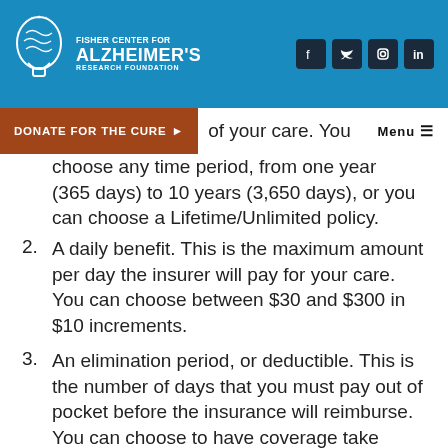Fisher Center for Alzheimer's Research Foundation
DONATE FOR THE CURE | MENU
of your care. You can choose any time period, from one year (365 days) to 10 years (3,650 days), or you can choose a Lifetime/Unlimited policy.
2. A daily benefit. This is the maximum amount per day the insurer will pay for your care. You can choose between $30 and $300 in $10 increments.
3. An elimination period, or deductible. This is the number of days that you must pay out of pocket before the insurance will reimburse. You can choose to have coverage take effect